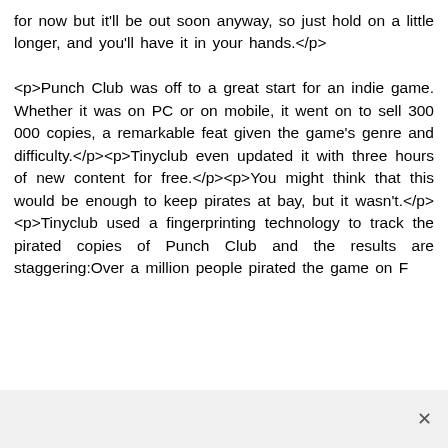for now but it'll be out soon anyway, so just hold on a little longer, and you'll have it in your hands.</p>

<p>Punch Club was off to a great start for an indie game. Whether it was on PC or on mobile, it went on to sell 300 000 copies, a remarkable feat given the game's genre and difficulty.</p><p>Tinyclub even updated it with three hours of new content for free.</p><p>You might think that this would be enough to keep pirates at bay, but it wasn't.</p><p>Tinyclub used a fingerprinting technology to track the pirated copies of Punch Club and the results are staggering:Over a million people pirated the game on F